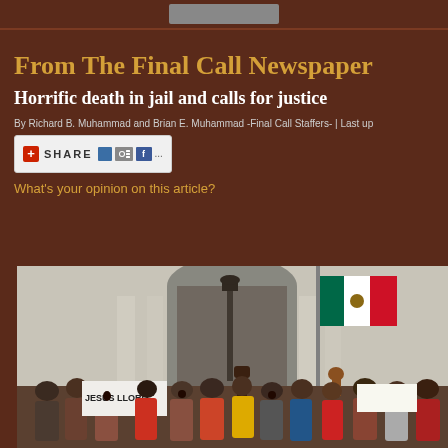From The Final Call Newspaper
Horrific death in jail and calls for justice
By Richard B. Muhammad and Brian E. Muhammad -Final Call Staffers- | Last up
[Figure (screenshot): Share button widget with social media icons including del.icio.us, Digg, and Facebook]
What's your opinion on this article?
[Figure (photo): Crowd of protesters in front of a large building with arched entrance. Many people are cheering and raising fists, several holding Mexican flags. One sign reads 'JESUS LLORO'.]